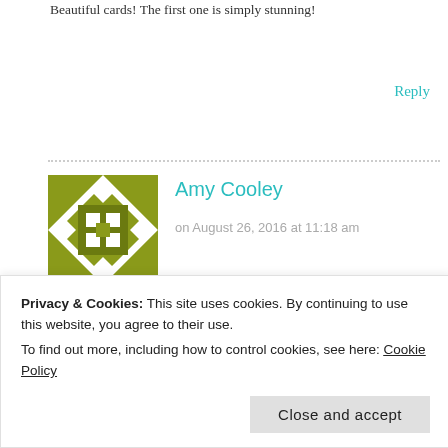Beautiful cards! The first one is simply stunning!
Reply
[Figure (illustration): Pixel/geometric avatar for Amy Cooley, olive green and white pattern]
Amy Cooley
on August 26, 2016 at 11:18 am
This is a beautiful kit! I love your rainbow of colors!
Reply
Privacy & Cookies: This site uses cookies. By continuing to use this website, you agree to their use.
To find out more, including how to control cookies, see here: Cookie Policy
Close and accept